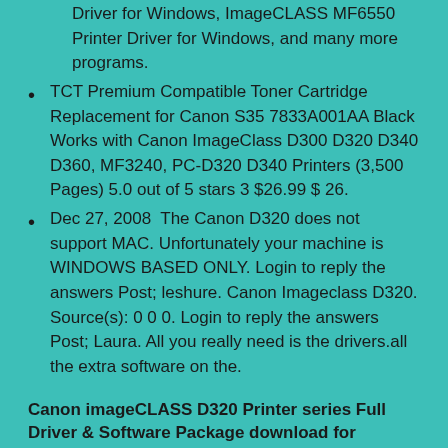Driver for Windows, ImageCLASS MF6550 Printer Driver for Windows, and many more programs.
TCT Premium Compatible Toner Cartridge Replacement for Canon S35 7833A001AA Black Works with Canon ImageClass D300 D320 D340 D360, MF3240, PC-D320 D340 Printers (3,500 Pages) 5.0 out of 5 stars 3 $26.99 $ 26.
Dec 27, 2008  The Canon D320 does not support MAC. Unfortunately your machine is WINDOWS BASED ONLY. Login to reply the answers Post; leshure. Canon Imageclass D320. Source(s): 0 0 0. Login to reply the answers Post; Laura. All you really need is the drivers.all the extra software on the.
Canon imageCLASS D320 Printer series Full Driver & Software Package download for Microsoft Windows and MacOS X Operating Systems.
Canon printer driver is an application software program that works on a computer to communicate with a printer. When a print